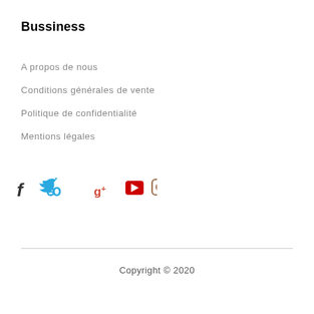Bussiness
A propos de nous
Conditions générales de vente
Politique de confidentialité
Mentions légales
[Figure (other): Social media icons: Facebook, Twitter, Google+, YouTube, Instagram]
Copyright © 2020